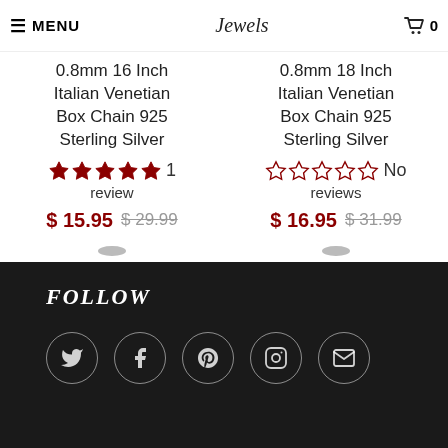MENU | Jewels logo | Cart 0
0.8mm 16 Inch Italian Venetian Box Chain 925 Sterling Silver
★★★★★ 1 review
$ 15.95  $ 29.99
0.8mm 18 Inch Italian Venetian Box Chain 925 Sterling Silver
☆☆☆☆☆ No reviews
$ 16.95  $ 31.99
FOLLOW — Twitter, Facebook, Pinterest, Instagram, Email